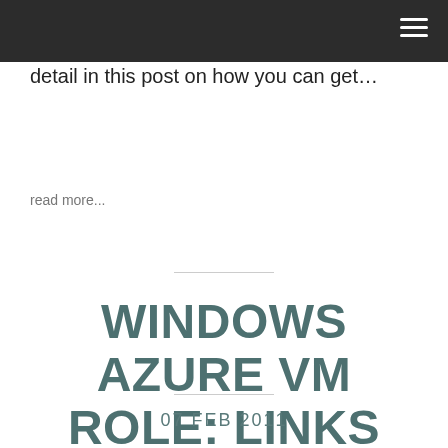detail in this post on how you can get…
read more...
WINDOWS AZURE VM ROLE: LINKS
07 FEB 2011